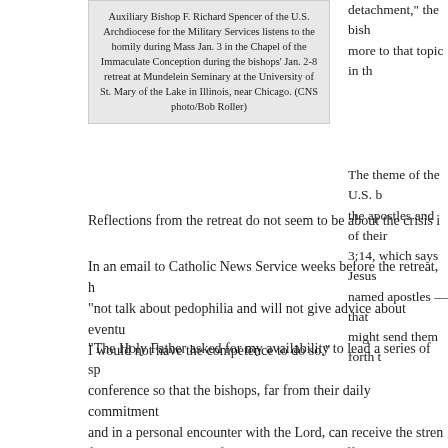Auxiliary Bishop F. Richard Spencer of the U.S. Archdiocese for the Military Services listens to the homily during Mass Jan. 3 in the Chapel of the Immaculate Conception during the bishops' Jan. 2-8 retreat at Mundelein Seminary at the University of St. Mary of the Lake in Illinois, near Chicago. (CNS photo/Bob Roller)
detachment," the bish... more to that topic in th...
The theme of the U.S. b... the apostles and of their... 3:14, which says Jesus... named apostles — that... might send them forth t...
Reflections from the retreat do not seem to be about the crisis i...
In an email to Catholic News Service weeks before the retreat, h... "not talk about pedophilia and will not give advice about eventu... I would not have the competence to do so."
"The Holy Father asked for my availability to lead a series of sp... conference so that the bishops, far from their daily commitment... and in a personal encounter with the Lord, can receive the stren... find the right solutions for the problems that afflict the U.S. chu...